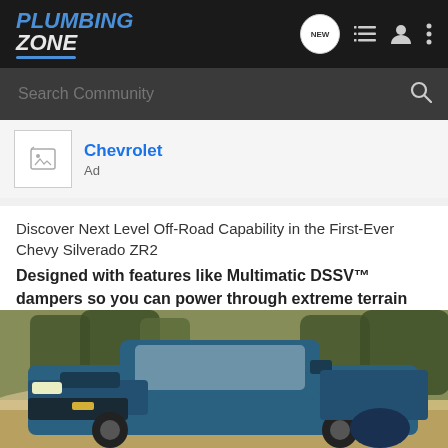Plumbing Zone
Search Community
Chevrolet
Ad
Discover Next Level Off-Road Capability in the First-Ever Chevy Silverado ZR2
Designed with features like Multimatic DSSV™ dampers so you can power through extreme terrain adventures.
[Figure (photo): Blue Chevrolet Silverado ZR2 truck driving through dusty off-road terrain with trees in background]